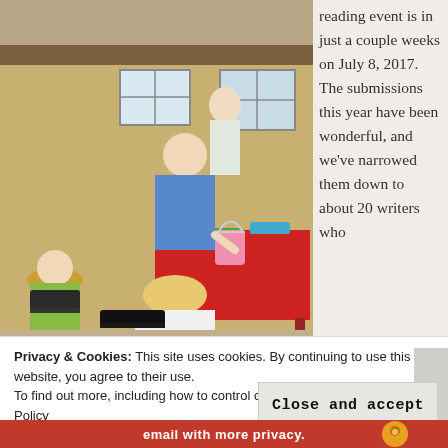[Figure (photo): Outdoor gathering scene with several people seated in folding chairs; a woman in a blue shirt holds a pink bucket; a red-clothed table with items is visible in the background along with a man standing near a building.]
reading event is in just a couple weeks on July 8, 2017. The submissions this year have been wonderful, and we've narrowed them down to about 20 writers who
Privacy & Cookies: This site uses cookies. By continuing to use this website, you agree to their use.
To find out more, including how to control cookies, see here: Cookie Policy
Close and accept
email with more privacy.